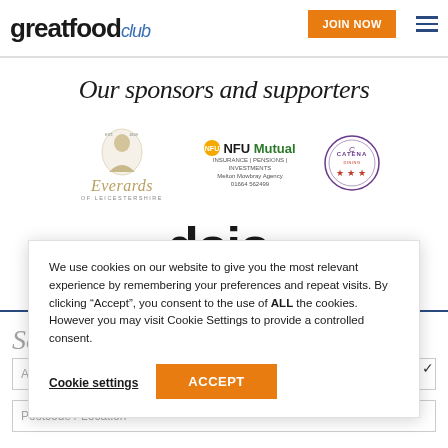greatfood club | JOIN NOW
Our sponsors and supporters
[Figure (logo): Everards of Leicestershire logo with portrait illustration]
[Figure (logo): NFU Mutual Melton Mowbray Agency logo, phone 01664 562499]
[Figure (logo): Catena circular badge logo with stars]
[Figure (logo): doio. logo in large bold text]
We use cookies on our website to give you the most relevant experience by remembering your preferences and repeat visits. By clicking “Accept”, you consent to the use of ALL the cookies. However you may visit Cookie Settings to provide a controlled consent.
Cookie settings | ACCEPT